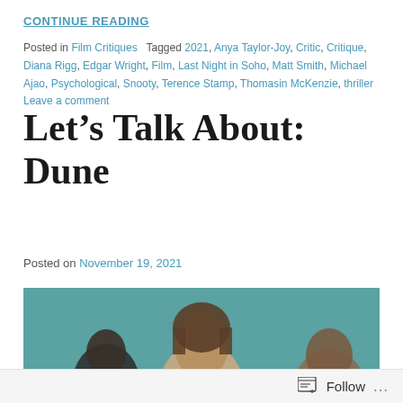CONTINUE READING
Posted in Film Critiques   Tagged 2021, Anya Taylor-Joy, Critic, Critique, Diana Rigg, Edgar Wright, Film, Last Night in Soho, Matt Smith, Michael Ajao, Psychological, Snooty, Terence Stamp, Thomasin McKenzie, thriller   Leave a comment
Let’s Talk About: Dune
Posted on November 19, 2021
[Figure (photo): A teal-background promotional photo showing three people, with a central figure with medium-length hair prominently visible, partially cropped at the bottom of the page.]
Follow ...